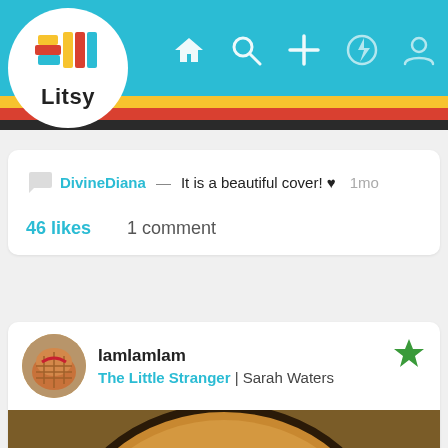[Figure (screenshot): Litsy app header with teal navigation bar showing home, search, add, notification, and profile icons, with yellow, red, and dark stripes below, and Litsy logo in white circle]
DivineDiana — It is a beautiful cover! ♥  1mo
46 likes   1 comment
IamIamIam
The Little Stranger | Sarah Waters
[Figure (photo): Partial book cover showing brown and orange circular design at bottom of page]